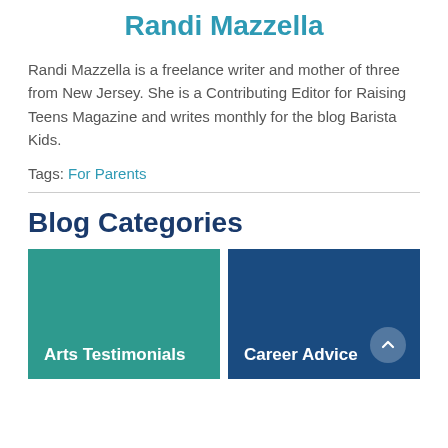Randi Mazzella
Randi Mazzella is a freelance writer and mother of three from New Jersey. She is a Contributing Editor for Raising Teens Magazine and writes monthly for the blog Barista Kids.
Tags: For Parents
Blog Categories
[Figure (other): Two category tiles side by side: 'Arts Testimonials' (teal background) and 'Career Advice' (dark blue background)]